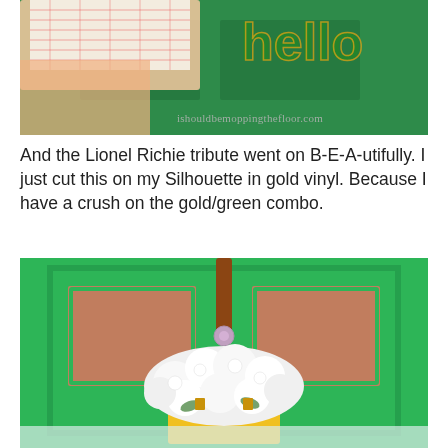[Figure (photo): Close-up photo of a hand applying green vinyl lettering to a green door, with a sheet of transfer paper with red grid lines visible. Watermark reads 'ishouldbemoppingthefloor.com']
And the Lionel Richie tribute went on B-E-A-utifully. I just cut this on my Silhouette in gold vinyl. Because I have a crush on the gold/green combo.
[Figure (photo): Photo of a bright green front door with a yellow bucket filled with white hydrangea flowers hanging from a leather strap with a decorative buckle. The bucket partially overlaps a table surface at the bottom.]